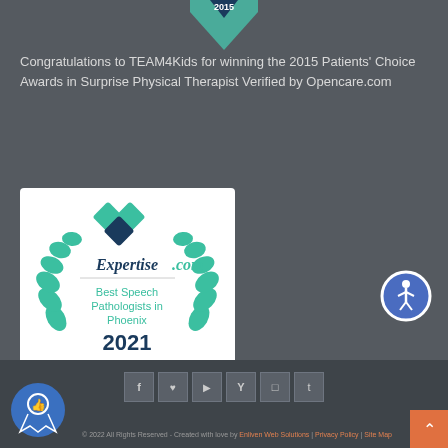[Figure (logo): Teal diamond/arrow badge pointing down with '2015' text at top center of page]
Congratulations to TEAM4Kids for winning the 2015 Patients' Choice Awards in Surprise Physical Therapist Verified by Opencare.com
[Figure (logo): Expertise.com badge for Best Speech Pathologists in Phoenix 2021, white background with teal laurel wreath and diamond logo]
[Figure (logo): Blue circular accessibility icon button on right side]
[Figure (logo): Social media icons row: Facebook, Pinterest, YouTube, Yelp, Instagram, Tumblr]
[Figure (logo): Blue circular award badge at bottom left]
© 2022 All Rights Reserved - Created with love by Enliven Web Solutions | Privacy Policy | Site Map